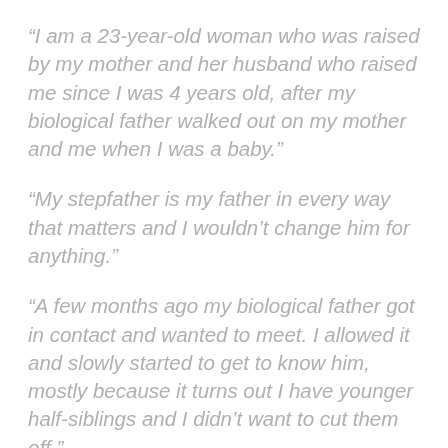“I am a 23-year-old woman who was raised by my mother and her husband who raised me since I was 4 years old, after my biological father walked out on my mother and me when I was a baby.”
“My stepfather is my father in every way that matters and I wouldn’t change him for anything.”
“A few months ago my biological father got in contact and wanted to meet. I allowed it and slowly started to get to know him, mostly because it turns out I have younger half-siblings and I didn’t want to cut them off.”
“Plus despite it all I wanted to try and understand the